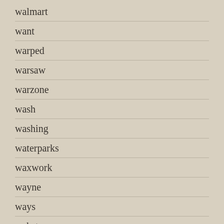walmart
want
warped
warsaw
warzone
wash
washing
waterparks
waxwork
wayne
ways
webster
weed
weeknd
weezer
wega